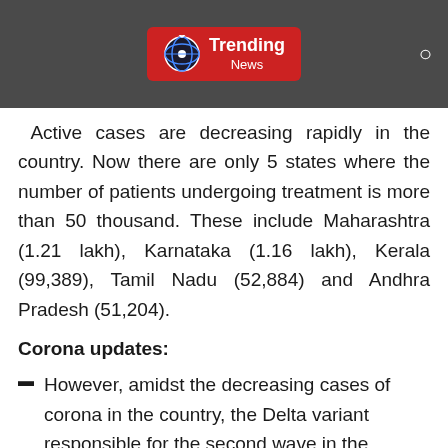Trending News
Active cases are decreasing rapidly in the country. Now there are only 5 states where the number of patients undergoing treatment is more than 50 thousand. These include Maharashtra (1.21 lakh), Karnataka (1.16 lakh), Kerala (99,389), Tamil Nadu (52,884) and Andhra Pradesh (51,204).
Corona updates:
However, amidst the decreasing cases of corona in the country, the Delta variant responsible for the second wave in the country is once again attacking by mutating. It has been named Delta Plus. Experts believe that the Delta Plus variant